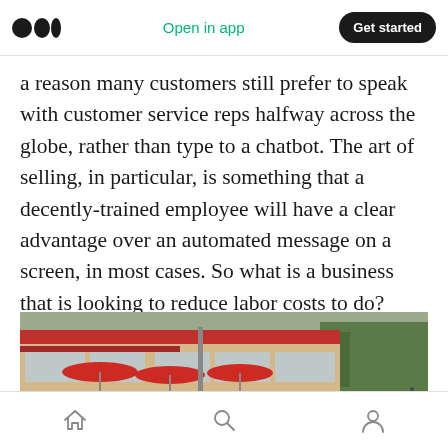Medium app header: Open in app | Get started
a reason many customers still prefer to speak with customer service reps halfway across the globe, rather than type to a chatbot. The art of selling, in particular, is something that a decently-trained employee will have a clear advantage over an automated message on a screen, in most cases. So what is a business that is looking to reduce labor costs to do?
[Figure (photo): Exterior photo of a fast food restaurant (likely Chick-fil-A) with red umbrellas on an outdoor patio, a busy parking lot with multiple cars, and trees in the background under an overcast sky.]
Bottom navigation bar with home, search, and profile icons